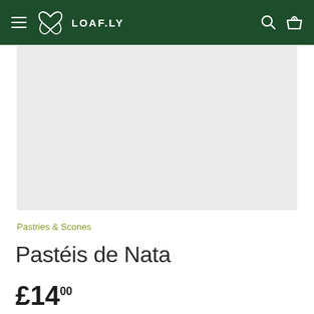LOAF.LY navigation bar with hamburger menu, logo, search and basket icons
[Figure (photo): Product image placeholder — light grey rectangular area representing a product photo of Pastéis de Nata]
Pastries & Scones
Pastéis de Nata
£14.00